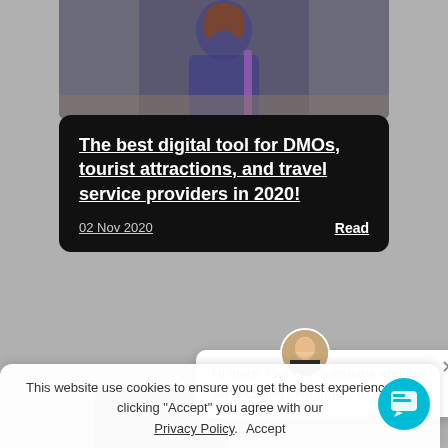[Figure (screenshot): Screenshot of a website showing a blog post card with dark background, a chat popup, cookie consent banner, and a chat button. The card title reads 'The best digital tool for DMOs, tourist attractions, and travel service providers in 2020!' dated 02 Nov 2020 with a 'Read' link. A chat popup says 'Hi there. Got any questions about SmartGuide? I'm happy to help.' The cookie banner says 'This website use cookies to ensure you get the best experience. By clicking 'Accept' you agree with our Privacy Policy. Accept']